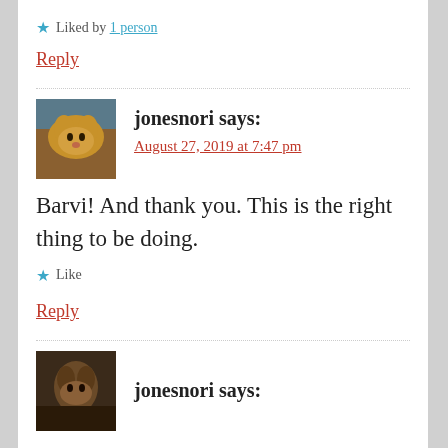★ Liked by 1 person
Reply
jonesnori says: August 27, 2019 at 7:47 pm
Barvi! And thank you. This is the right thing to be doing.
★ Like
Reply
[Figure (photo): Avatar photo of a cat]
jonesnori says:
[Figure (photo): Avatar photo at bottom]